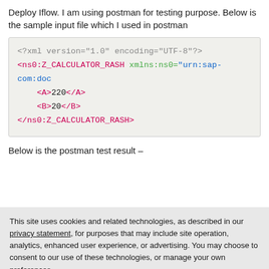Deploy Iflow. I am using postman for testing purpose. Below is the sample input file which I used in postman
[Figure (screenshot): Code block showing XML input: <?xml version="1.0" encoding="UTF-8"?> <ns0:Z_CALCULATOR_RASH xmlns:ns0="urn:sap-com:doc..."> <A>220</A> <B>20</B> </ns0:Z_CALCULATOR_RASH>]
Below is the postman test result –
This site uses cookies and related technologies, as described in our privacy statement, for purposes that may include site operation, analytics, enhanced user experience, or advertising. You may choose to consent to our use of these technologies, or manage your own preferences.
Accept Cookies
More Information
Privacy Policy | Powered by: TrustArc